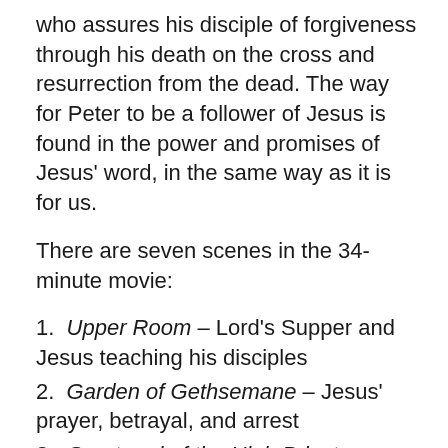who assures his disciple of forgiveness through his death on the cross and resurrection from the dead. The way for Peter to be a follower of Jesus is found in the power and promises of Jesus' word, in the same way as it is for us.
There are seven scenes in the 34-minute movie:
1.  Upper Room – Lord's Supper and Jesus teaching his disciples
2.  Garden of Gethsemane – Jesus' prayer, betrayal, and arrest
3.  Courtyard of the High Priest – Peter's denial
4.  Tomb – Jesus' burial and resurrection